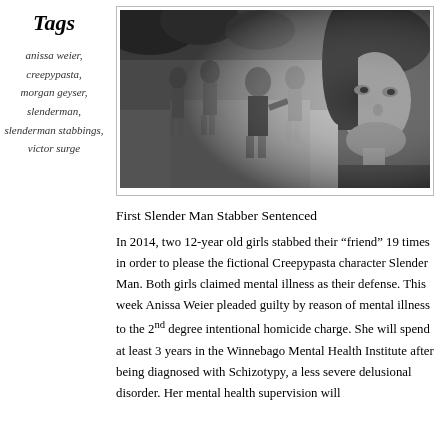Tags
anissa weier,
creepypasta,
morgan geyser,
slenderman,
slenderman stabbings, victor surge
[Figure (photo): Black and white photograph of a group of young people walking on a path outdoors, with a close-up of a person's face on the right side.]
First Slender Man Stabber Sentenced
In 2014, two 12-year old girls stabbed their “friend” 19 times in order to please the fictional Creepypasta character Slender Man. Both girls claimed mental illness as their defense. This week Anissa Weier pleaded guilty by reason of mental illness to the 2nd degree intentional homicide charge. She will spend at least 3 years in the Winnebago Mental Health Institute after being diagnosed with Schizotypy, a less severe delusional disorder. Her mental health supervision will